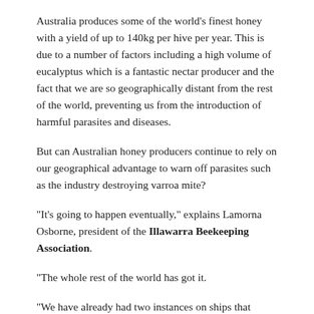Australia produces some of the world’s finest honey with a yield of up to 140kg per hive per year. This is due to a number of factors including a high volume of eucalyptus which is a fantastic nectar producer and the fact that we are so geographically distant from the rest of the world, preventing us from the introduction of harmful parasites and diseases.
But can Australian honey producers continue to rely on our geographical advantage to warn off parasites such as the industry destroying varroa mite?
“It’s going to happen eventually,” explains Lamorna Osborne, president of the Illawarra Beekeeping Association.
“The whole rest of the world has got it.
“We have already had two instances on ships that verroa mite was found on, one at Kurnell and the other at Darwin,” she said
Collapsing colonies the world over